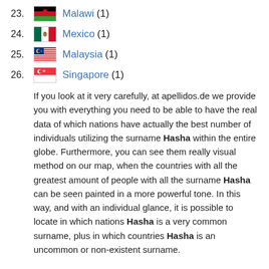23. Malawi (1)
24. Mexico (1)
25. Malaysia (1)
26. Singapore (1)
If you look at it very carefully, at apellidos.de we provide you with everything you need to be able to have the real data of which nations have actually the best number of individuals utilizing the surname Hasha within the entire globe. Furthermore, you can see them really visual method on our map, when the countries with all the greatest amount of people with all the surname Hasha can be seen painted in a more powerful tone. In this way, and with an individual glance, it is possible to locate in which nations Hasha is a very common surname, plus in which countries Hasha is an uncommon or non-existent surname.